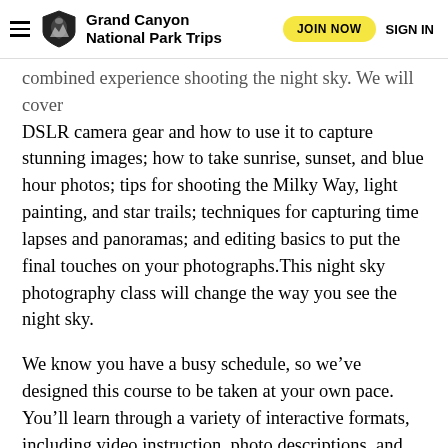Grand Canyon National Park Trips
combined experience shooting the night sky. We will cover DSLR camera gear and how to use it to capture stunning images; how to take sunrise, sunset, and blue hour photos; tips for shooting the Milky Way, light painting, and star trails; techniques for capturing time lapses and panoramas; and editing basics to put the final touches on your photographs.This night sky photography class will change the way you see the night sky.
We know you have a busy schedule, so we’ve designed this course to be taken at your own pace. You’ll learn through a variety of interactive formats, including video instruction, photo descriptions, and more. Plus, at the end of each section you’ll have a homework assignment to reinforce what you learned. Each lesson builds on the last, and, while we’ve designed the course to be 9 weeks long, you can take it as